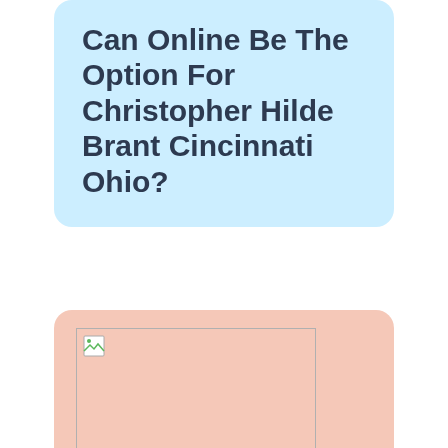Can Online Be The Option For Christopher Hilde Brant Cincinnati Ohio?
[Figure (photo): Broken/missing image placeholder inside pink card]
If you want to increase productivity,white-label Facebook adsare